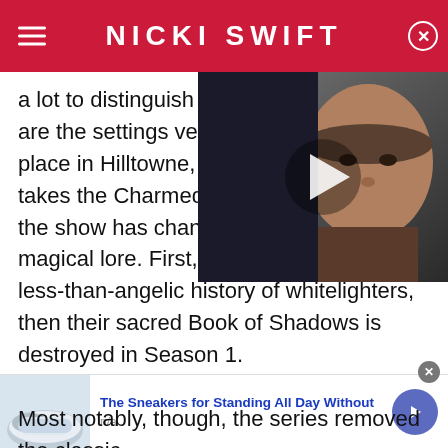NICKI SWIFT
a lot to distinguish itself from are the settings very different place in Hilltowne, Michigan, a takes the Charmed Ones to Seattle), but the show has changed fundamental magical lore. First, the show reveals the less-than-angelic history of whitelighters, then their sacred Book of Shadows is destroyed in Season 1.

Most notably, though, the series removed the classic
[Figure (photo): Video thumbnail showing a bald man's face against a dark background, with a white play button triangle overlay]
[Figure (photo): Advertisement showing a sneaker/shoe image]
The Sneakers for Standing All Day Without
n/a